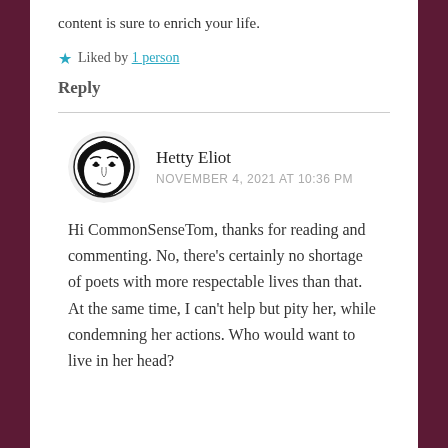content is sure to enrich your life.
★ Liked by 1 person
Reply
Hetty Eliot
NOVEMBER 4, 2021 AT 10:36 PM
Hi CommonSenseTom, thanks for reading and commenting. No, there's certainly no shortage of poets with more respectable lives than that. At the same time, I can't help but pity her, while condemning her actions. Who would want to live in her head?